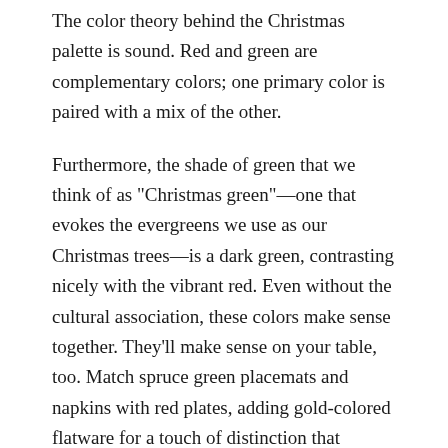The color theory behind the Christmas palette is sound. Red and green are complementary colors; one primary color is paired with a mix of the other.
Furthermore, the shade of green that we think of as "Christmas green"—one that evokes the evergreens we use as our Christmas trees—is a dark green, contrasting nicely with the vibrant red. Even without the cultural association, these colors make sense together. They'll make sense on your table, too. Match spruce green placemats and napkins with red plates, adding gold-colored flatware for a touch of distinction that accents your base colors. For a slightly calmer presentation, go with a green-dominant arrangement and let a little red go a long way, with clear glasses playing the role of white.